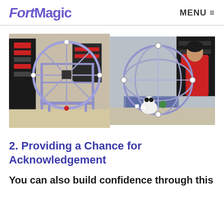FortMagic  MENU
[Figure (photo): Two side-by-side photos of children's fort building toy constructions made with purple tubes and connectors forming wheel and dome-like structures. Left photo shows a large circular wheel structure on a rectangular frame. Right photo shows a child in a red shirt working on a dome/sphere structure on the floor.]
2. Providing a Chance for Acknowledgement
You can also build confidence through this